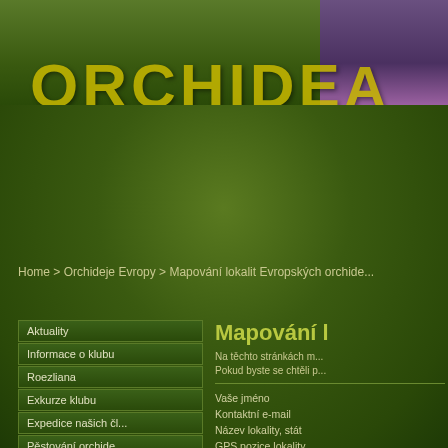[Figure (screenshot): Website header banner with dark green left section and purple/magenta right section, showing 'ORCHIDEA' text in large yellow/gold letters]
Home > Orchideje Evropy > Mapování lokalit Evropských orchide...
Aktuality
Informace o klubu
Roezliana
Exkurze klubu
Expedice našich čl...
Pěstování orchide...
Botanici a orchideje
Klíče k určování
Orchideje v ČR
Mapování l
Na těchto stránkách m... Pokud byste se chtěli p...
Vaše jméno
Kontaktní e-mail
Název lokality, stát
GPS pozice lokality
Foto lokality, rostlin (n...
Popis nálezu, upřesně...